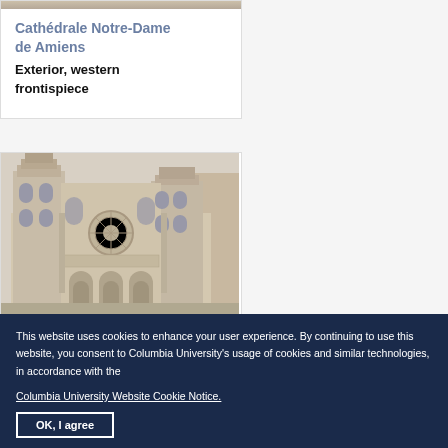[Figure (photo): Top portion of a cathedral exterior image, cropped at the top]
Cathédrale Notre-Dame de Amiens
Exterior, western frontispiece
[Figure (photo): Photograph of Cathédrale Notre-Dame de Amiens showing the western frontispiece with Gothic architectural details, rose window, and towers]
This website uses cookies to enhance your user experience. By continuing to use this website, you consent to Columbia University's usage of cookies and similar technologies, in accordance with the Columbia University Website Cookie Notice.
OK, I agree